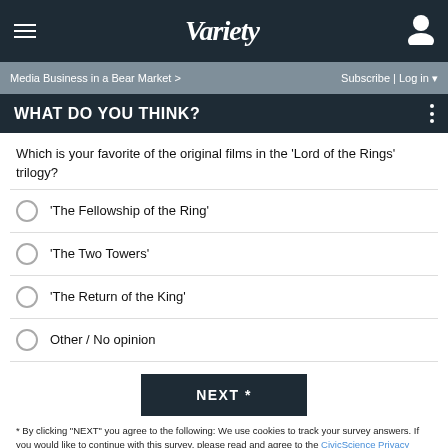Variety
Media Business in a Bear Market >
Subscribe | Log in
WHAT DO YOU THINK?
Which is your favorite of the original films in the 'Lord of the Rings' trilogy?
'The Fellowship of the Ring'
'The Two Towers'
'The Return of the King'
Other / No opinion
NEXT *
* By clicking "NEXT" you agree to the following: We use cookies to track your survey answers. If you would like to continue with this survey, please read and agree to the CivicScience Privacy Policy and Terms of Service
ADVERTISEMENT